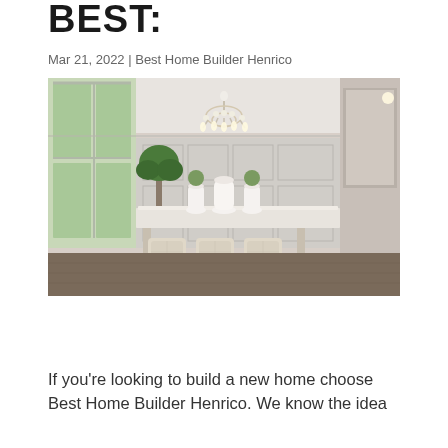BEST:
Mar 21, 2022 | Best Home Builder Henrico
[Figure (photo): Elegant dining room interior with a white chandelier, a long marble dining table, upholstered beige chairs, white wainscoting walls, large windows on the left, indoor plant in background, and view to kitchen on the right.]
If you’re looking to build a new home choose Best Home Builder Henrico. We know the idea